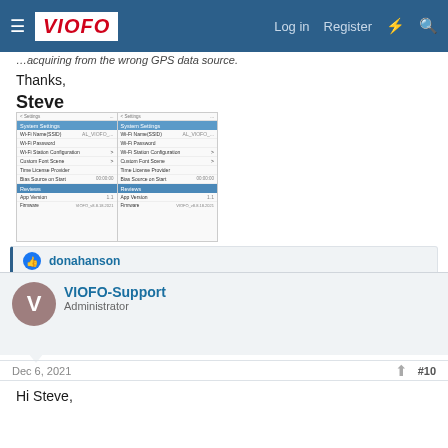VIOFO — Log in   Register
...acquiring from the wrong GPS data source.
Thanks,
Steve
[Figure (screenshot): Side-by-side screenshot of VIOFO dashcam Settings menus showing System Settings, Wi-Fi Name/SSID, Wi-Fi Password, Wi-Fi Station Configuration, Custom Font Scene, Time License Provider, Bias Source on Start, firmware/app version sections]
donahanson
VIOFO-Support
Administrator
Dec 6, 2021
#10
Hi Steve,